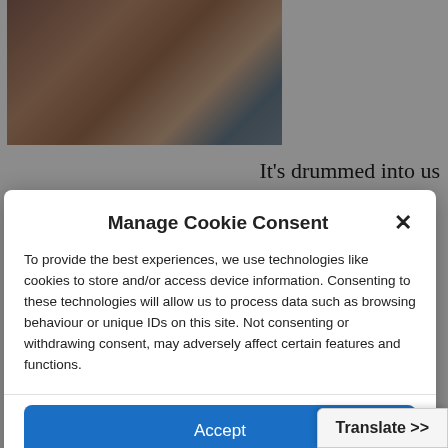[Figure (photo): Partial photo of people in what appears to be an indoor setting with vertical bars/structures visible]
It's drummed into us
Manage Cookie Consent
To provide the best experiences, we use technologies like cookies to store and/or access device information. Consenting to these technologies will allow us to process data such as browsing behaviour or unique IDs on this site. Not consenting or withdrawing consent, may adversely affect certain features and functions.
Accept
Deny
View preferences
Cookie Policy   Privacy Policy
Translate >>